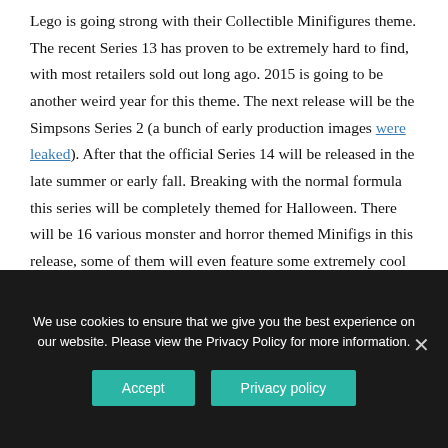Lego is going strong with their Collectible Minifigures theme. The recent Series 13 has proven to be extremely hard to find, with most retailers sold out long ago. 2015 is going to be another weird year for this theme. The next release will be the Simpsons Series 2 (a bunch of early production images were leaked). After that the official Series 14 will be released in the late summer or early fall. Breaking with the normal formula this series will be completely themed for Halloween. There will be 16 various monster and horror themed Minifigs in this release, some of them will even feature some extremely cool new molds.
We use cookies to ensure that we give you the best experience on our website. Please view the Privacy Policy for more information.